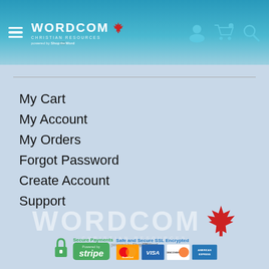Wordcom Christian Resources — powered by ShopTheWord
My Cart
My Account
My Orders
Forgot Password
Create Account
Support
[Figure (logo): Wordcom Christian Resources logo with maple leaf and powered by ShopTheWord tagline, watermark style in footer]
[Figure (infographic): Secure Payments powered by Stripe badge, Safe and Secure SSL Encrypted label, with Mastercard, Visa, Discover, American Express card logos]